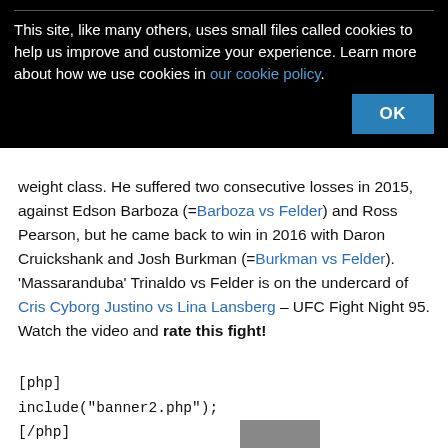This site, like many others, uses small files called cookies to help us improve and customize your experience. Learn more about how we use cookies in our cookie policy.
OK
weight class. He suffered two consecutive losses in 2015, against Edson Barboza (=Barboza vs Felder) and Ross Pearson, but he came back to win in 2016 with Daron Cruickshank and Josh Burkman (=Burkman vs Felder). 'Massaranduba' Trinaldo vs Felder is on the undercard of Cris Cyborg Justino vs Lina Lansberg – UFC Fight Night 95. Watch the video and rate this fight!
[php]
include("banner2.php");
[/php]